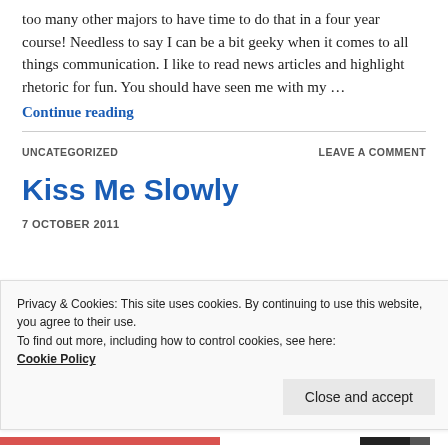too many other majors to have time to do that in a four year course! Needless to say I can be a bit geeky when it comes to all things communication. I like to read news articles and highlight rhetoric for fun. You should have seen me with my …
Continue reading
UNCATEGORIZED
LEAVE A COMMENT
Kiss Me Slowly
7 OCTOBER 2011
Privacy & Cookies: This site uses cookies. By continuing to use this website, you agree to their use.
To find out more, including how to control cookies, see here:
Cookie Policy
Close and accept